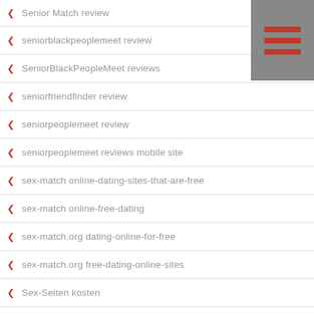Senior Match review
[Figure (other): Hamburger menu icon with three red horizontal lines on grey background]
seniorblackpeoplemeet review
SeniorBlackPeopleMeet reviews
seniorfriendfinder review
seniorpeoplemeet review
seniorpeoplemeet reviews mobile site
sex-match online-dating-sites-that-are-free
sex-match online-free-dating
sex-match.org dating-online-for-free
sex-match.org free-dating-online-sites
Sex-Seiten kosten
SexCamly Live Web Cam Porn
SexCamly Live XXX Chat Rooms